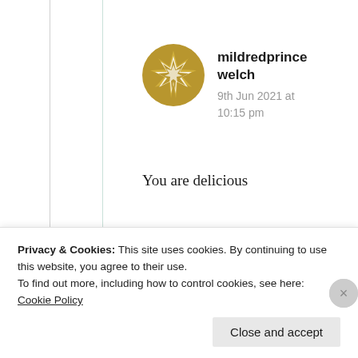[Figure (illustration): Golden circular avatar with a star/compass rose pattern, used as user profile picture for mildredprincewelch]
mildredprince welch
9th Jun 2021 at 10:15 pm
You are delicious
★ Like
Privacy & Cookies: This site uses cookies. By continuing to use this website, you agree to their use.
To find out more, including how to control cookies, see here: Cookie Policy
Close and accept